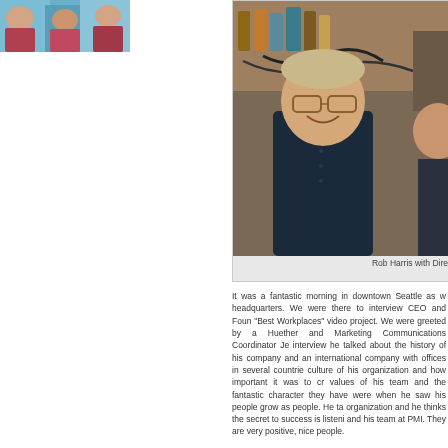[Figure (photo): Partial photo of people in top-left corner]
[Figure (photo): Photo of Rob Harris with Director, man in dark shirt smiling indoors with shelves in background]
Rob Harris with Dire
It was a fantastic morning in downtown Seattle as w headquarters. We were there to interview CEO and Foun "Best Workplaces" video project. We were greeted by a Huether and Marketing Communications Coordinator Je interview he talked about the history of his company and an international company with offices in several countrie culture of his organization and how important it was to cr values of his team and the fantastic character they have were when he saw his people grow as people. He ta organization and he thinks the secret to success is listeni and his team at PMI. They are very positive, nice people.